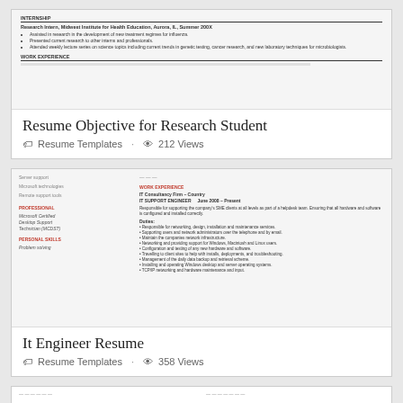[Figure (screenshot): Thumbnail image of a resume for a research student showing INTERNSHIP and WORK EXPERIENCE sections]
Resume Objective for Research Student
Resume Templates · 212 Views
[Figure (screenshot): Thumbnail image of an IT engineer resume showing two-column layout with WORK EXPERIENCE, IT Consultancy Firm, IT SUPPORT ENGINEER, and bullet point duties]
It Engineer Resume
Resume Templates · 358 Views
[Figure (screenshot): Partial thumbnail of a third resume at bottom of page]